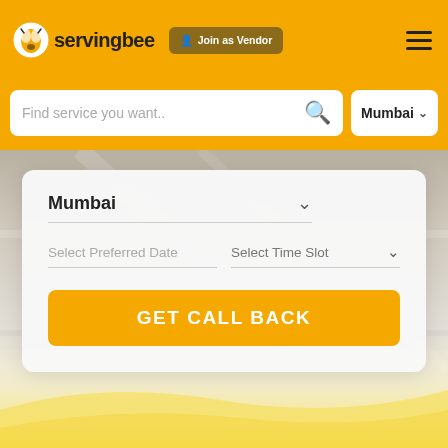[Figure (screenshot): ServingBee website header with yellow/orange background showing logo, Join as Vendor button, hamburger menu, search bar with 'Find service you want..' placeholder, and Mumbai city dropdown]
[Figure (screenshot): Form card with city selector (Mumbai), Select Preferred Date input, Select Time Slot dropdown, and GET CALL BACK button in orange]
[Figure (photo): Background photo of concrete/road surface with yellow wave design at bottom]